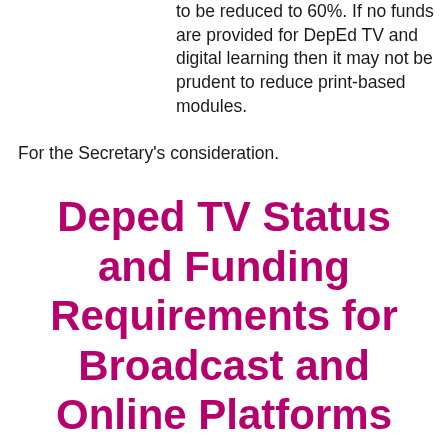to be reduced to 60%. If no funds are provided for DepEd TV and digital learning then it may not be prudent to reduce print-based modules.
For the Secretary's consideration.
Deped TV Status and Funding Requirements for Broadcast and Online Platforms